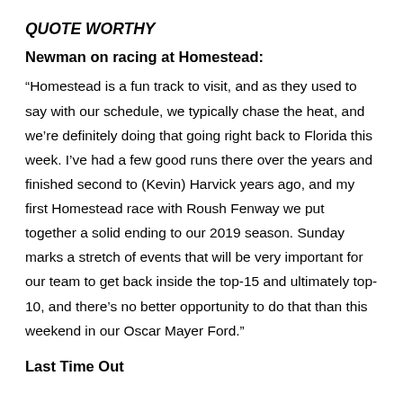QUOTE WORTHY
Newman on racing at Homestead:
“Homestead is a fun track to visit, and as they used to say with our schedule, we typically chase the heat, and we’re definitely doing that going right back to Florida this week. I’ve had a few good runs there over the years and finished second to (Kevin) Harvick years ago, and my first Homestead race with Roush Fenway we put together a solid ending to our 2019 season. Sunday marks a stretch of events that will be very important for our team to get back inside the top-15 and ultimately top-10, and there’s no better opportunity to do that than this weekend in our Oscar Mayer Ford.”
Last Time Out